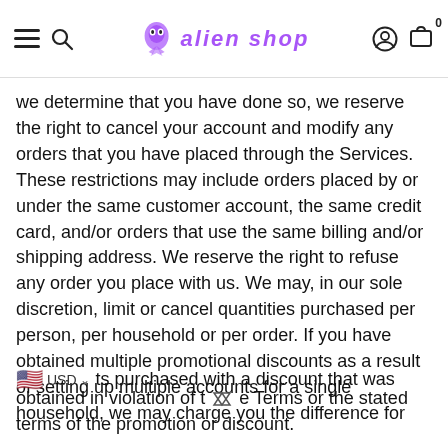alien shop — navigation header with menu, search, logo, account, cart
we determine that you have done so, we reserve the right to cancel your account and modify any orders that you have placed through the Services. These restrictions may include orders placed by or under the same customer account, the same credit card, and/or orders that use the same billing and/or shipping address. We reserve the right to refuse any order you place with us. We may, in our sole discretion, limit or cancel quantities purchased per person, per household or per order. If you have obtained multiple promotional discounts as a result of setting up multiple accounts for a single household, we may charge you the difference for ts purchased with a discount that was obtained in violation of these Terms or the stated terms of the promotion or discount.